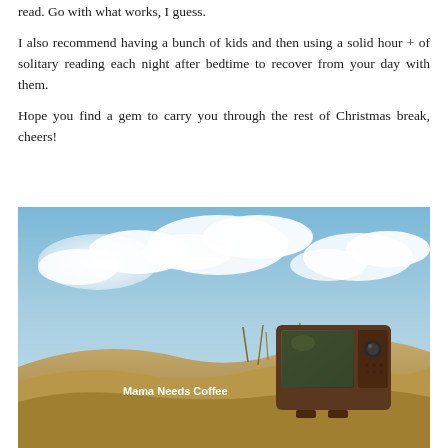read. Go with what works, I guess.
I also recommend having a bunch of kids and then using a solid hour + of solitary reading each night after bedtime to recover from your day with them.
Hope you find a gem to carry you through the rest of Christmas break, cheers!
[Figure (photo): An old vintage television set sitting in sandy dunes with dry grass, against a blue sky with white clouds. A watermark reads 'Mama Needs Coffee' in bold white text.]